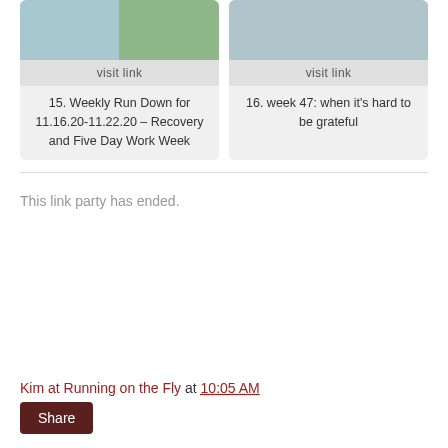[Figure (photo): Two side-by-side thumbnail photos: left shows a person in a blue top near a blue trash can, right shows people on a path outdoors]
visit link
15. Weekly Run Down for 11.16.20-11.22.20 – Recovery and Five Day Work Week
[Figure (photo): Thumbnail photo showing blue water bottles or cups on a stone patio surface]
visit link
16. week 47: when it's hard to be grateful
This link party has ended.
Kim at Running on the Fly at 10:05 AM
Share